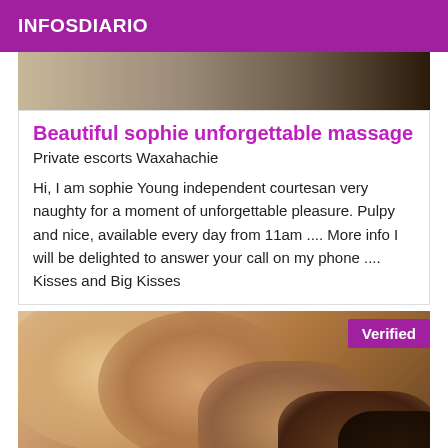INFOSDIARIO
[Figure (photo): Partial photo at top of listing]
Beautiful sophie unforgettable massage
Private escorts Waxahachie
Hi, I am sophie Young independent courtesan very naughty for a moment of unforgettable pleasure. Pulpy and nice, available every day from 11am .... More info I will be delighted to answer your call on my phone .... Kisses and Big Kisses
[Figure (photo): Photo with Verified badge in top right corner]